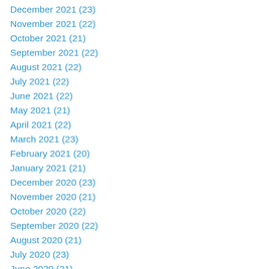December 2021 (23)
November 2021 (22)
October 2021 (21)
September 2021 (22)
August 2021 (22)
July 2021 (22)
June 2021 (22)
May 2021 (21)
April 2021 (22)
March 2021 (23)
February 2021 (20)
January 2021 (21)
December 2020 (23)
November 2020 (21)
October 2020 (22)
September 2020 (22)
August 2020 (21)
July 2020 (23)
June 2020 (21)
May 2020 (21)